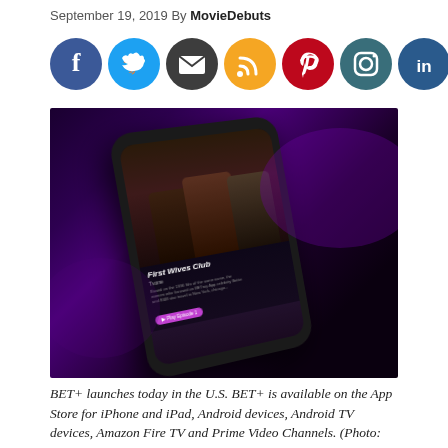September 19, 2019 By MovieDebuts
[Figure (infographic): Seven social media sharing icons in colored circles: Facebook (blue), Twitter (light blue), Email (dark gray), RSS (orange), Pinterest (red), Instagram (dark teal), LinkedIn (dark blue)]
[Figure (photo): A smartphone showing the BET+ app with the show 'First Wives Club', featuring three people on the screen. The phone is displayed at an angle against a dark purple gradient background.]
BET+ launches today in the U.S. BET+ is available on the App Store for iPhone and iPad, Android devices, Android TV devices, Amazon Fire TV and Prime Video Channels. (Photo: Business Wire)